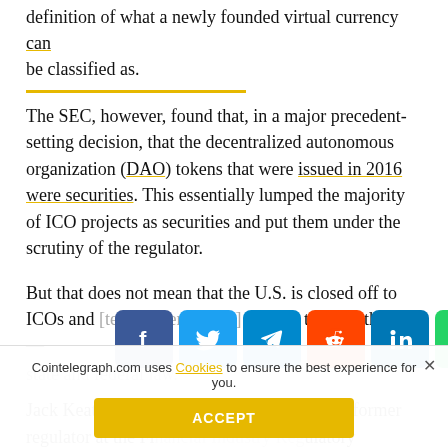definition of what a newly founded virtual currency can be classified as.
The SEC, however, found that, in a major precedent-setting decision, that the decentralized autonomous organization (DAO) tokens that were issued in 2016 were securities. This essentially lumped the majority of ICO projects as securities and put them under the scrutiny of the regulator.
But that does not mean that the U.S. is closed off to ICOs and ... hoops to jump through — especially with the division of state and federal law.
[Figure (infographic): Social media share buttons row: Facebook (blue), Twitter (light blue), Telegram (cyan), Reddit (orange), LinkedIn (blue), WhatsApp (green), Copy (gray), Up arrow (yellow/gold)]
Jack Keating, an attorney in New York and a former regulator at the Fi... ulatory Authority (FINRA), spoke to Cointele... about th...
Cointelegraph.com uses Cookies to ensure the best experience for you.